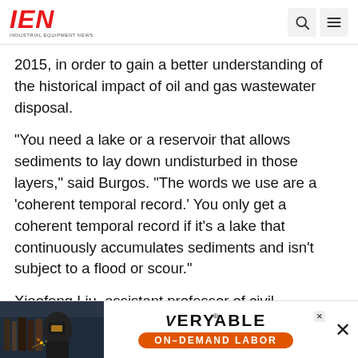IEN — Industrial Equipment News
2015, in order to gain a better understanding of the historical impact of oil and gas wastewater disposal.
"You need a lake or a reservoir that allows sediments to lay down undisturbed in those layers," said Burgos. "The words we use are a 'coherent temporal record.' You only get a coherent temporal record if it's a lake that continuously accumulates sediments and isn't subject to a flood or scour."
Xiaofeng Liu, assistant professor of civil engineering, developed a computer model to reconstruct the layers of sediment in order to identify... researchers chose the Conemaugh River Lake in
[Figure (advertisement): Veryable On-Demand Labor advertisement banner with welder image]